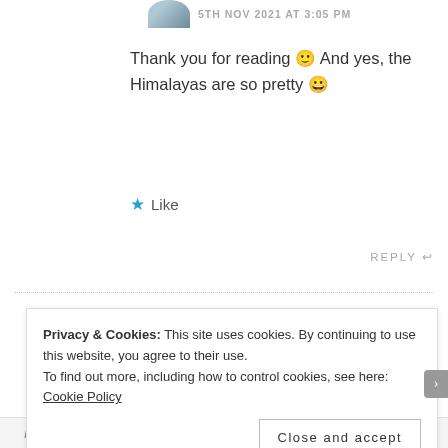[Figure (photo): Circular avatar photo of a person partially visible at top]
5TH NOV 2021 AT 3:05 PM
Thank you for reading 🙂 And yes, the Himalayas are so pretty 😀
★ Like
REPLY ↩
[Figure (photo): Circular avatar photo of Mili wearing a hat]
Mili says:
3RD NOV 2021 AT 10:05 PM
Privacy & Cookies: This site uses cookies. By continuing to use this website, you agree to their use.
To find out more, including how to control cookies, see here: Cookie Policy
Close and accept
Post on the go.